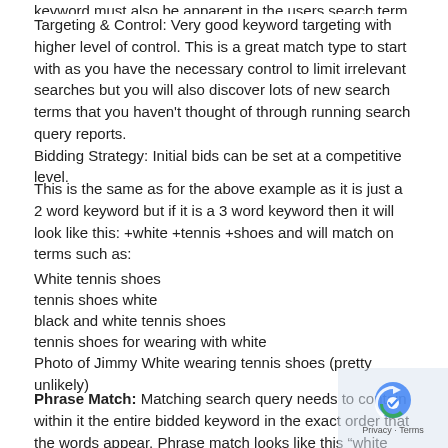Targeting & Control: Very good keyword targeting with higher level of control. This is a great match type to start with as you have the necessary control to limit irrelevant searches but you will also discover lots of new search terms that you haven't thought of through running search query reports.
Bidding Strategy: Initial bids can be set at a competitive level.
This is the same as for the above example as it is just a 2 word keyword but if it is a 3 word keyword then it will look like this: +white +tennis +shoes and will match on terms such as:
White tennis shoes
tennis shoes white
black and white tennis shoes
tennis shoes for wearing with white
Photo of Jimmy White wearing tennis shoes (pretty unlikely)
Phrase Match: Matching search query needs to contain within it the entire bidded keyword in the exact order that the words appear. Phrase match looks like this "white tennis shoes" and will match terms such as: